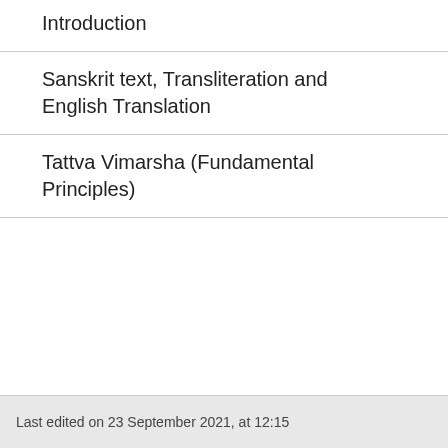Introduction
Sanskrit text, Transliteration and English Translation
Tattva Vimarsha (Fundamental Principles)
Last edited on 23 September 2021, at 12:15